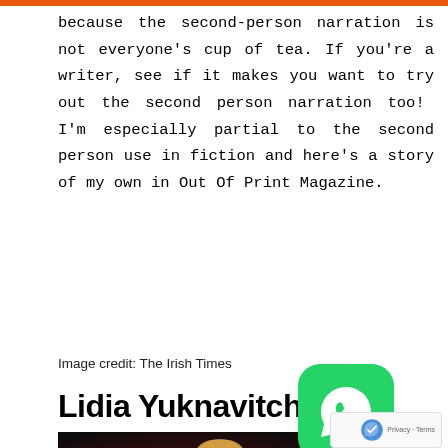because the second-person narration is not everyone's cup of tea. If you're a writer, see if it makes you want to try out the second person narration too! I'm especially partial to the second person use in fiction and here's a story of my own in Out Of Print Magazine.
Image credit: The Irish Times
Lidia Yuknavitch
[Figure (photo): Photo of Lidia Yuknavitch, a woman with long blonde hair, photographed against a dark background]
Are you a fan retell